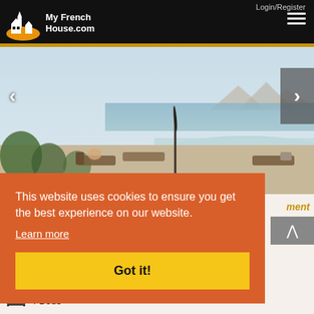[Figure (logo): My French House logo with church/house illustration in black and white, text 'My French House.com' in white on black background]
Login/Register
[Figure (photo): Luxury villa pool terrace with lounge chairs, umbrella, and sea/mountain view in background]
This website uses cookies to ensure you get the best experience on our website.
Learn more
Got it!
ment
4 Beds